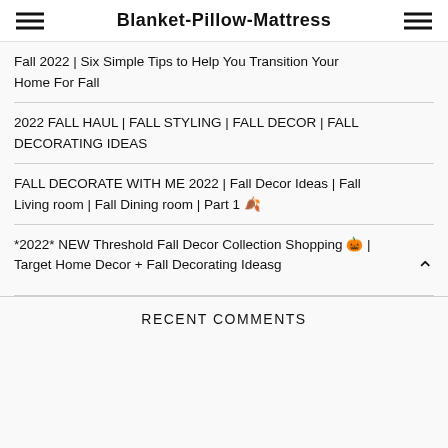Blanket-Pillow-Mattress
Fall 2022 | Six Simple Tips to Help You Transition Your Home For Fall
2022 FALL HAUL | FALL STYLING | FALL DECOR | FALL DECORATING IDEAS
FALL DECORATE WITH ME 2022 | Fall Decor Ideas | Fall Living room | Fall Dining room | Part 1 🍂
*2022* NEW Threshold Fall Decor Collection Shopping 🎃 | Target Home Decor + Fall Decorating Ideasg
RECENT COMMENTS